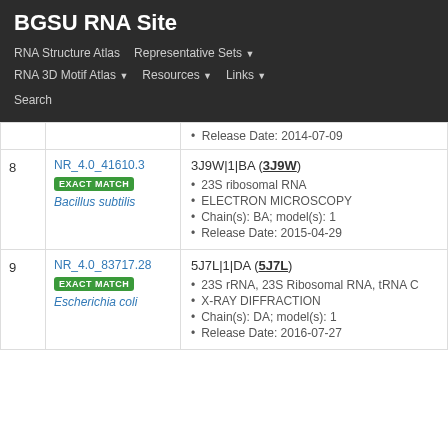BGSU RNA Site
RNA Structure Atlas | Representative Sets | RNA 3D Motif Atlas | Resources | Links | Search
| # | Equivalence Class | Representative |
| --- | --- | --- |
|  |  | Release Date: 2014-07-09 |
| 8 | NR_4.0_41610.3 EXACT MATCH Bacillus subtilis | 3J9W|1|BA (3J9W)
23S ribosomal RNA
ELECTRON MICROSCOPY
Chain(s): BA; model(s): 1
Release Date: 2015-04-29 |
| 9 | NR_4.0_83717.28 EXACT MATCH Escherichia coli | 5J7L|1|DA (5J7L)
23S rRNA, 23S Ribosomal RNA, tRNA C
X-RAY DIFFRACTION
Chain(s): DA; model(s): 1
Release Date: 2016-07-27 |